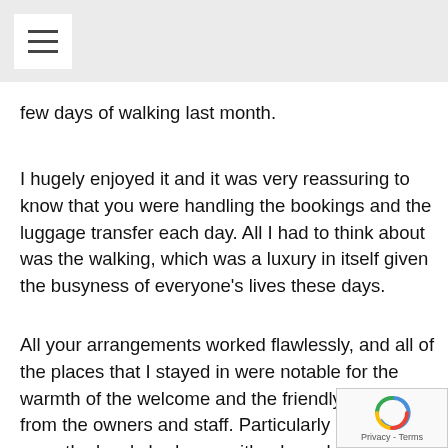few days of walking last month.
I hugely enjoyed it and it was very reassuring to know that you were handling the bookings and the luggage transfer each day. All I had to think about was the walking, which was a luxury in itself given the busyness of everyone's lives these days.
All your arrangements worked flawlessly, and all of the places that I stayed in were notable for the warmth of the welcome and the friendly hospitality from the owners and staff. Particularly notable were the lovely bedroom with a huge bay window at the Angeldale; the overall top notch excellence and luxury of the Tempest Arms; the friendliness of the proprietor at Windy Harbour Farm, who collected me